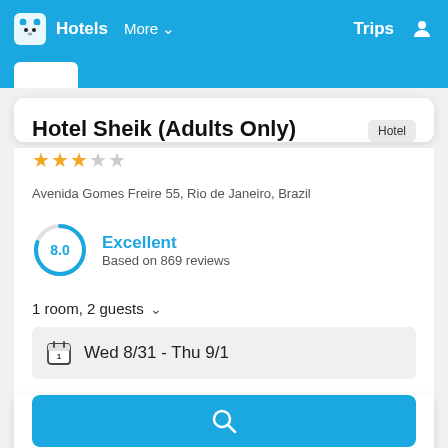Hotels  More  Trips
Hotel Sheik (Adults Only)
Hotel
★★★☆☆
Avenida Gomes Freire 55, Rio de Janeiro, Brazil
8.0  Excellent  Based on 869 reviews
1 room, 2 guests
Wed 8/31  -  Thu 9/1
[Figure (other): Search button with magnifying glass icon]